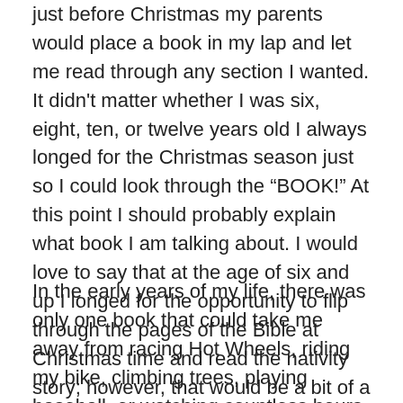just before Christmas my parents would place a book in my lap and let me read through any section I wanted. It didn't matter whether I was six, eight, ten, or twelve years old I always longed for the Christmas season just so I could look through the “BOOK!” At this point I should probably explain what book I am talking about. I would love to say that at the age of six and up I longed for the opportunity to flip through the pages of the Bible at Christmas time and read the nativity story; however, that would be a bit of a fabrication—okay, it would be a blatant lie.
In the early years of my life, there was only one book that could take me away from racing Hot Wheels, riding my bike, climbing trees, playing baseball, or watching countless hours of “Gilligan’s Island,” “Hogan’s Heroes,”